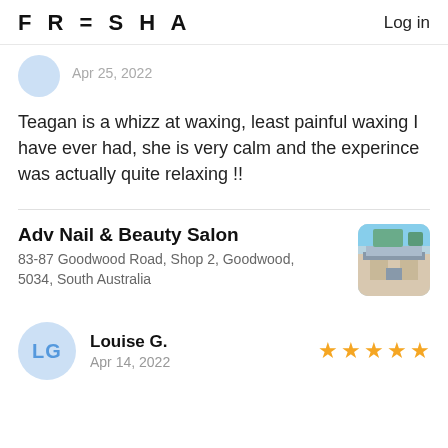FRESHA  Log in
Apr 25, 2022
Teagan is a whizz at waxing, least painful waxing I have ever had, she is very calm and the experince was actually quite relaxing !!
Adv Nail & Beauty Salon
83-87 Goodwood Road, Shop 2, Goodwood, 5034, South Australia
[Figure (photo): Thumbnail photo of Adv Nail & Beauty Salon exterior]
Louise G.  Apr 14, 2022  ★★★★★